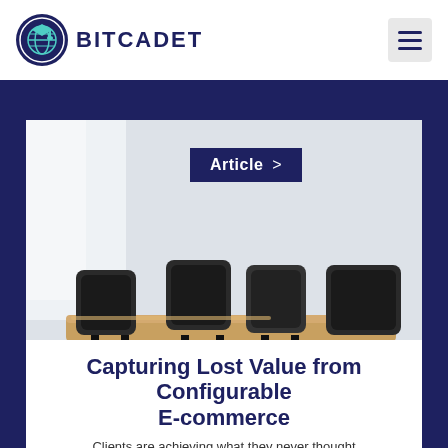BITCADET
[Figure (photo): Conference room with black leather chairs around a wooden table, bright white background]
Article >
Capturing Lost Value from Configurable E-commerce
Clients are achieving what they never thought possible; they are selling their heavily-customized